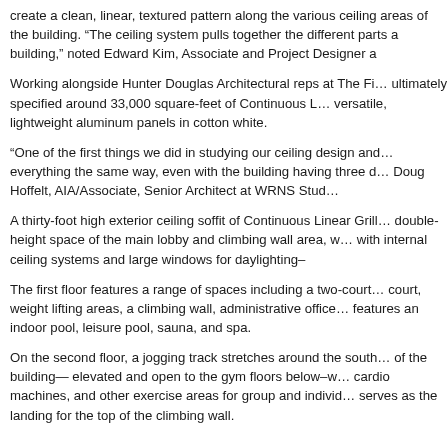create a clean, linear, textured pattern along the various ceiling areas of the building. “The ceiling system pulls together the different parts and gives unity to the building,” noted Edward Kim, Associate and Project Designer a
Working alongside Hunter Douglas Architectural reps at The Fi… ultimately specified around 33,000 square-feet of Continuous L… versatile, lightweight aluminum panels in cotton white.
“One of the first things we did in studying our ceiling design and… everything the same way, even with the building having three d… Doug Hoffelt, AIA / Associate, Senior Architect at WRNS Stud…
A thirty-foot high exterior ceiling soffit of Continuous Linear Grill… double-height space of the main lobby and climbing wall area, w… with internal ceiling systems and large windows for daylighting–
The first floor features a range of spaces including a two-court… court, weight lifting areas, a climbing wall, administrative office… features an indoor pool, leisure pool, sauna, and spa.
On the second floor, a jogging track stretches around the south… of the building— elevated and open to the gym floors below–w… cardio machines, and other exercise areas for group and individ… serves as the landing for the top of the climbing wall.